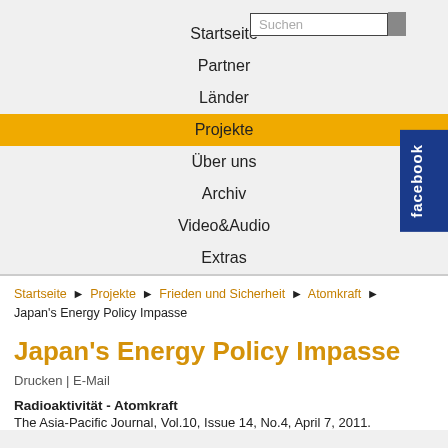Startseite  Partner  Länder  Projekte  Über uns  Archiv  Video&Audio  Extras
Startseite ▶ Projekte ▶ Frieden und Sicherheit ▶ Atomkraft ▶
Japan's Energy Policy Impasse
Japan's Energy Policy Impasse
Drucken | E-Mail
Radioaktivität - Atomkraft
The Asia-Pacific Journal, Vol.10, Issue 14, No.4, April 7, 2011.